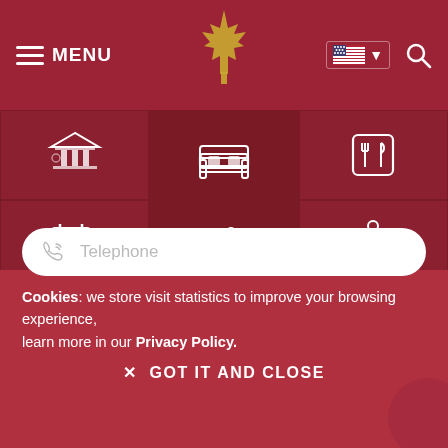MENU | [leaf logo] | [US flag] [dropdown] | [search]
[Figure (screenshot): Navigation icon grid with 6 cells: gazebo/accommodation icon, bed icon, restaurant/fork-knife icon, calendar icon, bicycle icon, hiking person icon]
Email
City
Telephone
Cookies: we store visit statistics to improve your browsing experience, learn more in our Privacy Policy.
✕  GOT IT AND CLOSE